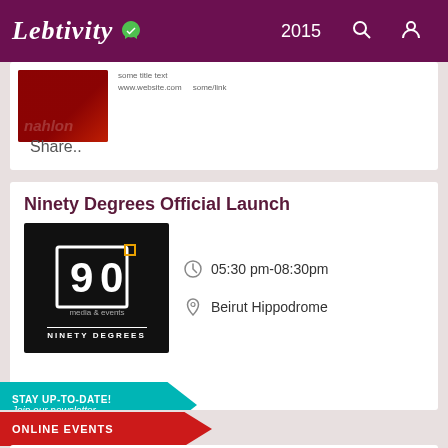Lebtivity 2015
[Figure (screenshot): Partial event card showing a red thumbnail image and some small text, with Share.. text below]
Share..
Ninety Degrees Official Launch
[Figure (logo): Ninety Degrees media & events logo: white 90 degree symbol on black background with NINETY DEGREES text below]
05:30 pm-08:30pm
Beirut Hippodrome
STAY UP-TO-DATE! Join our newsletter
ONLINE EVENTS
[Figure (photo): City skyline / construction area photo for an event at Iris, An Nahar Building]
06:00 pm-08:00pm
Iris, An Nahar Building, Down Town